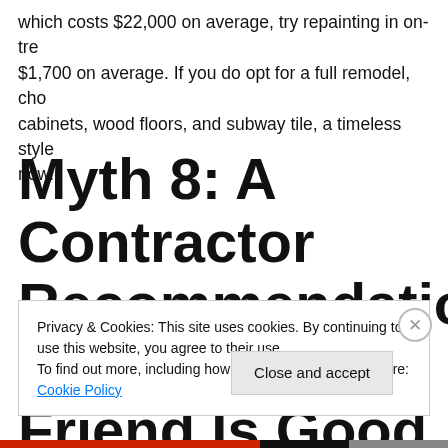which costs $22,000 on average, try repainting in on-tre $1,700 on average. If you do opt for a full remodel, cho cabinets, wood floors, and subway tile, a timeless style now.
Myth 8: A Contractor Recommendation From Friend Is Good Enough
Privacy & Cookies: This site uses cookies. By continuing to use this website, you agree to their use.
To find out more, including how to control cookies, see here: Cookie Policy
Close and accept